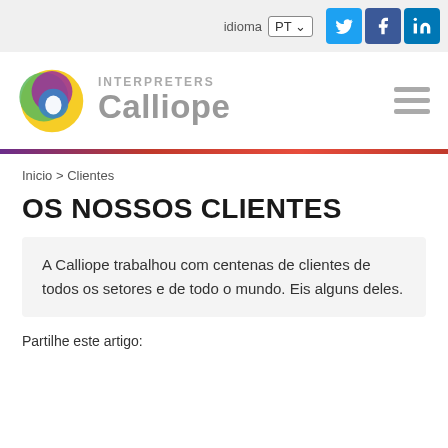idioma PT
[Figure (logo): Interpreters Calliope logo with colorful circular icon and text]
Inicio > Clientes
OS NOSSOS CLIENTES
A Calliope trabalhou com centenas de clientes de todos os setores e de todo o mundo. Eis alguns deles.
Partilhe este artigo: